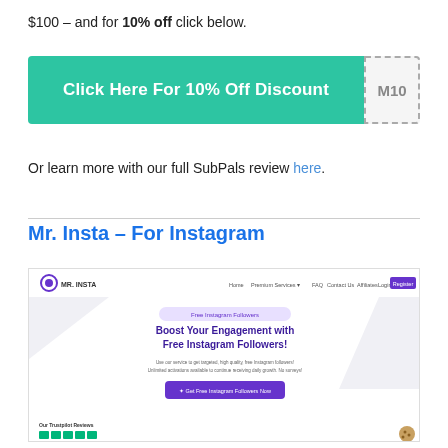$100 – and for 10% off click below.
[Figure (screenshot): Green button reading 'Click Here For 10% Off Discount' with a dashed coupon code box showing 'M10']
Or learn more with our full SubPals review here.
Mr. Insta – For Instagram
[Figure (screenshot): Screenshot of Mr. Insta website showing logo, navigation bar, and hero section 'Boost Your Engagement with Free Instagram Followers!' with a purple CTA button and Trustpilot reviews.]